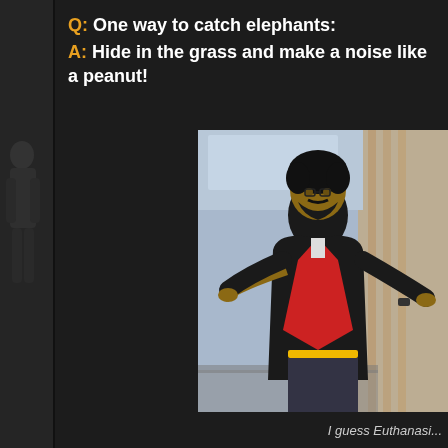Q: One way to catch elephants:
A: Hide in the grass and make a noise like a peanut!
[Figure (photo): A man with dark curly hair and beard wearing a black jacket over a red garment, standing with arms spread in a shrugging or expressive pose, against a light blue background.]
I guess Euthanasi...